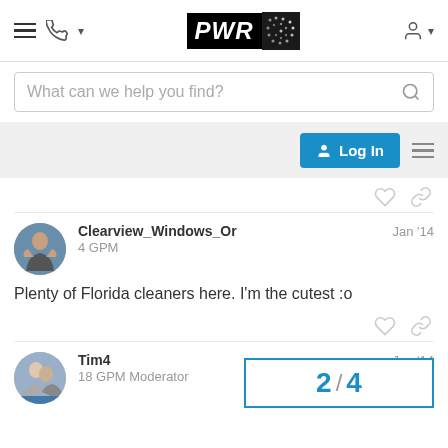[Figure (logo): PWR logo – black rectangle with bold italic PWR text and a dark panel with dot pattern]
What can we help you find?
Log In
Clearview_Windows_Or
4 GPM
Jan '14
Plenty of Florida cleaners here. I'm the cutest :o
Tim4
18 GPM Moderator
Jan '14
2 / 4